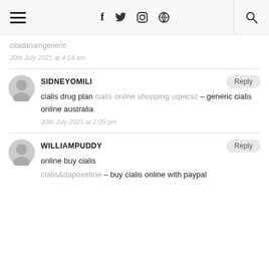≡  f  twitter  instagram  pinterest  🔍
citadanamgeneric
30th July 2021 at 4:14 am
SIDNEYOMILI
cialis drug plan cialis online shopping uqeicsz – generic cialis online australia
30th July 2021 at 2:09 pm
WILLIAMPUDDY
online buy cialis
cialis&dapoxetine – buy cialis online with paypal